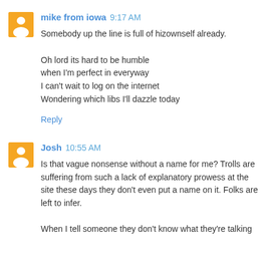mike from iowa  9:17 AM
Somebody up the line is full of hizownself already.

Oh lord its hard to be humble
when I'm perfect in everyway
I can't wait to log on the internet
Wondering which libs I'll dazzle today

Reply
Josh  10:55 AM
Is that vague nonsense without a name for me? Trolls are suffering from such a lack of explanatory prowess at the site these days they don't even put a name on it. Folks are left to infer.

When I tell someone they don't know what they're talking